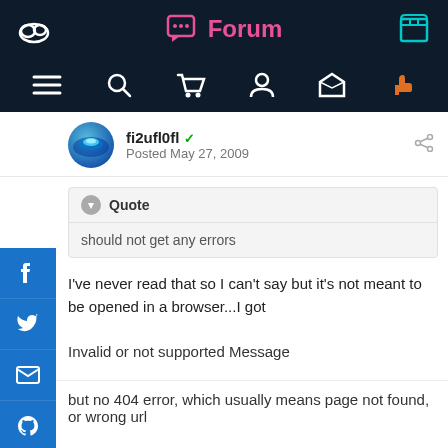Forum
fi2ufl0fl Posted May 27, 2009
Quote
should not get any errors
I've never read that so I can't say but it's not meant to be opened in a browser...I got
Invalid or not supported Message
but no 404 error, which usually means page not found, or wrong url